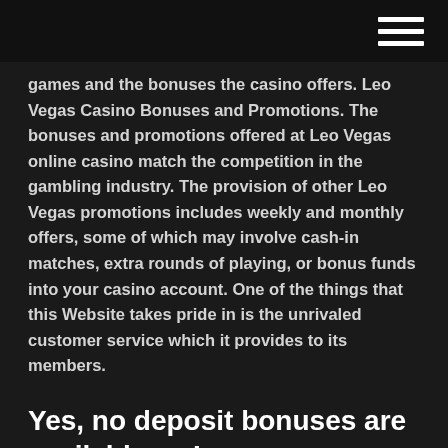games and the bonuses the casino offers. Leo Vegas Casino Bonuses and Promotions. The bonuses and promotions offered at Leo Vegas online casino match the competition in the gambling industry. The provision of other Leo Vegas promotions includes weekly and monthly offers, some of which may involve cash-in matches, extra rounds of playing, or bonus funds into your casino account. One of the things that this Website takes pride in is the unrivaled customer service which it provides to its members.
Yes, no deposit bonuses are available as Leovegas Welcome Bonus soon as you open Leovegas Welcome Bonus an